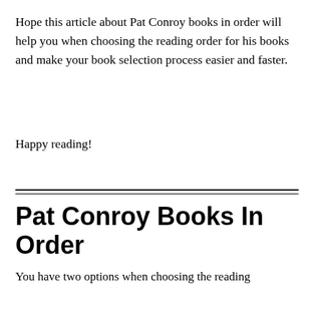Hope this article about Pat Conroy books in order will help you when choosing the reading order for his books and make your book selection process easier and faster.
Happy reading!
Pat Conroy Books In Order
You have two options when choosing the reading